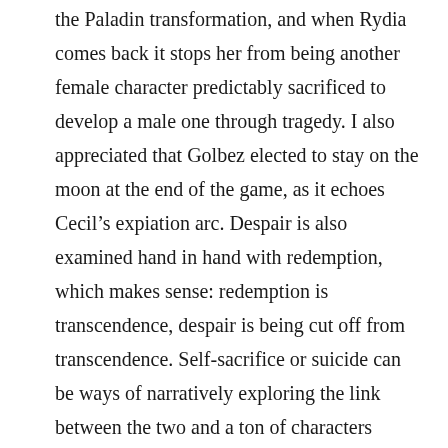the Paladin transformation, and when Rydia comes back it stops her from being another female character predictably sacrificed to develop a male one through tragedy. I also appreciated that Golbez elected to stay on the moon at the end of the game, as it echoes Cecil's expiation arc. Despair is also examined hand in hand with redemption, which makes sense: redemption is transcendence, despair is being cut off from transcendence. Self-sacrifice or suicide can be ways of narratively exploring the link between the two and a ton of characters attempt to off themselves. The link and the mingled hope and despair implicit in it is even stated by one character after Cid appears to blow himself up: “Why do so many choose death so easily?”
There are other expressions of this a little further from